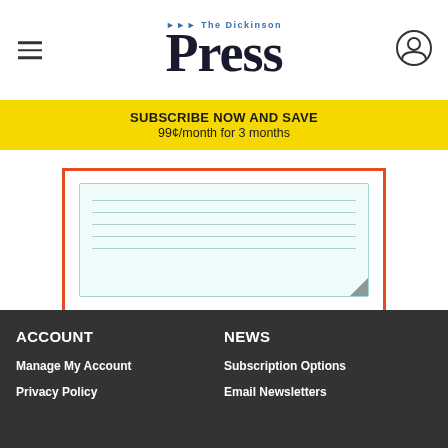The Dickinson Press
SUBSCRIBE NOW AND SAVE
99¢/month for 3 months
[Figure (screenshot): Search form area with a notepad graphic inside an orange-bordered box, with a Search Today! button]
ACCOUNT
Manage My Account
Privacy Policy
NEWS
Subscription Options
Email Newsletters